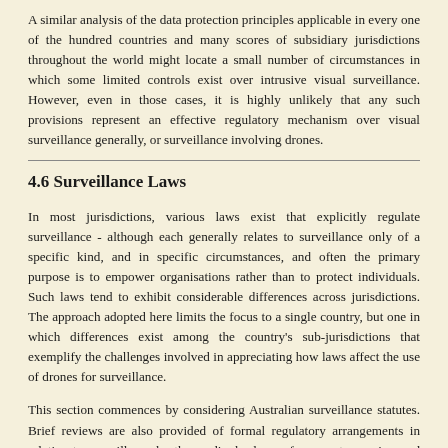A similar analysis of the data protection principles applicable in every one of the hundred countries and many scores of subsidiary jurisdictions throughout the world might locate a small number of circumstances in which some limited controls exist over intrusive visual surveillance. However, even in those cases, it is highly unlikely that any such provisions represent an effective regulatory mechanism over visual surveillance generally, or surveillance involving drones.
4.6 Surveillance Laws
In most jurisdictions, various laws exist that explicitly regulate surveillance - although each generally relates to surveillance only of a specific kind, and in specific circumstances, and often the primary purpose is to empower organisations rather than to protect individuals. Such laws tend to exhibit considerable differences across jurisdictions. The approach adopted here limits the focus to a single country, but one in which differences exist among the country's sub-jurisdictions that exemplify the challenges involved in appreciating how laws affect the use of drones for surveillance.
This section commences by considering Australian surveillance statutes. Brief reviews are also provided of formal regulatory arrangements in relation to surveillance by the media, by law enforcement agencies, and finally by individuals.